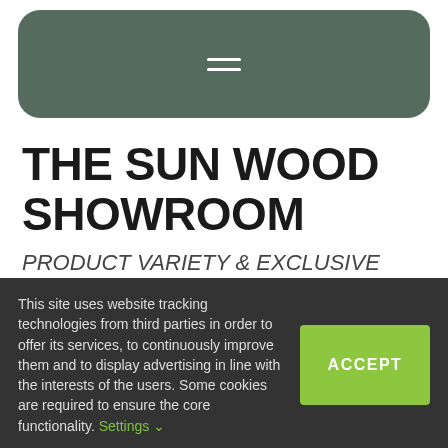[Figure (screenshot): Dark green rounded navigation bar with hamburger menu icon (three horizontal lines) centered]
THE SUN WOOD SHOWROOM
PRODUCT VARIETY & EXCLUSIVE ADVICE
Let yourself be inspired by our creative interior design ideas made of wood in the SUN WOOD showroom. In addition to wall coverings, tables, benches, beds and original
This site uses website tracking technologies from third parties in order to offer its services, to continuously improve them and to display advertising in line with the interests of the users. Some cookies are required to ensure the core functionality. Settings ∨